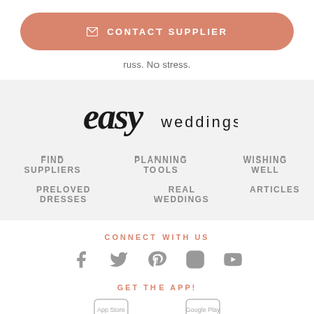[Figure (other): Contact Supplier button - rounded rectangle in salmon/dusty rose color with envelope icon and text CONTACT SUPPLIER in white letters]
russ. No stress.
[Figure (logo): Easy Weddings logo - 'easy' in cursive script and 'weddings' in spaced sans-serif lettering on a light grey background]
FIND SUPPLIERS
PLANNING TOOLS
WISHING WELL
PRELOVED DRESSES
REAL WEDDINGS
ARTICLES
CONNECT WITH US
[Figure (other): Social media icons row: Facebook, Twitter, Pinterest, Instagram, YouTube - all in grey]
GET THE APP!
[Figure (other): App store download icons - partially visible at bottom]